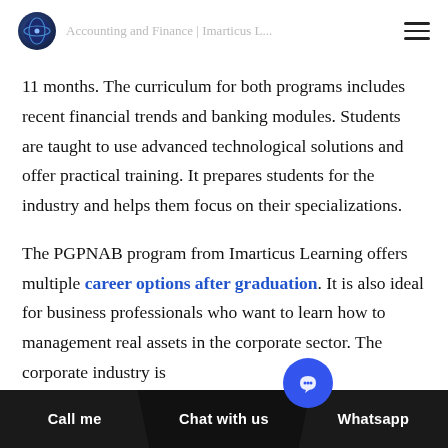[Logo] [Site title - partially visible] [Hamburger menu]
11 months. The curriculum for both programs includes recent financial trends and banking modules. Students are taught to use advanced technological solutions and offer practical training. It prepares students for the industry and helps them focus on their specializations.
The PGPNAB program from Imarticus Learning offers multiple career options after graduation. It is also ideal for business professionals who want to learn how to management real assets in the corporate sector. The corporate industry is
Call me  Chat with us  Whatsapp